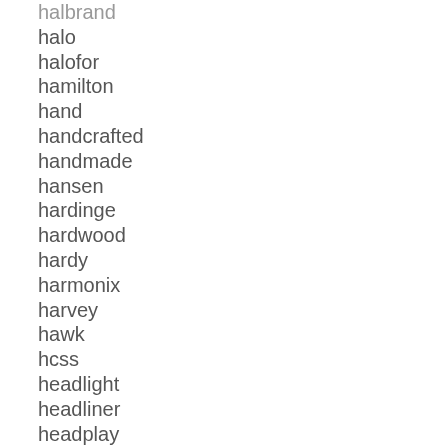halbrand
halo
halofor
hamilton
hand
handcrafted
handmade
hansen
hardinge
hardwood
hardy
harmonix
harvey
hawk
hcss
headlight
headliner
headplay
healthy
heater
heller